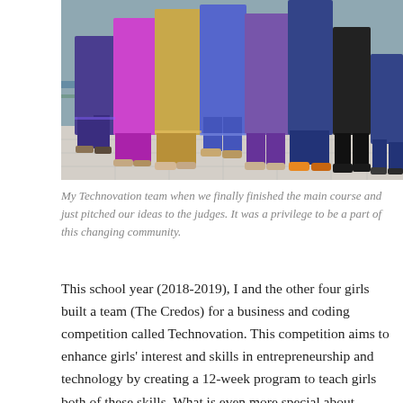[Figure (photo): Group photo showing the lower halves of several people standing together, wearing colorful traditional garments and various footwear, on a tiled floor.]
My Technovation team when we finally finished the main course and just pitched our ideas to the judges. It was a privilege to be a part of this changing community.
This school year (2018-2019), I and the other four girls built a team (The Credos) for a business and coding competition called Technovation. This competition aims to enhance girls' interest and skills in entrepreneurship and technology by creating a 12-week program to teach girls both of these skills. What is even more special about Technovation is the competitions that are held both nationally and internationally that allow girls to compete, pitch their business ideas and showcase the application that they have developed throughout the course. Everyone who has participated in the regional pitching